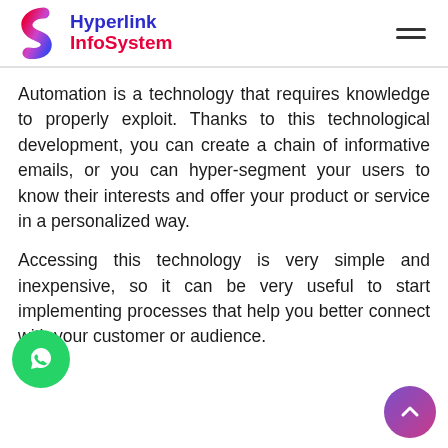[Figure (logo): Hyperlink InfoSystem logo with stylized S-shape icon in pink/purple and blue text 'Hyperlink' with red text 'InfoSystem']
Automation is a technology that requires knowledge to properly exploit. Thanks to this technological development, you can create a chain of informative emails, or you can hyper-segment your users to know their interests and offer your product or service in a personalized way.
Accessing this technology is very simple and inexpensive, so it can be very useful to start implementing processes that help you better connect with your customer or audience.